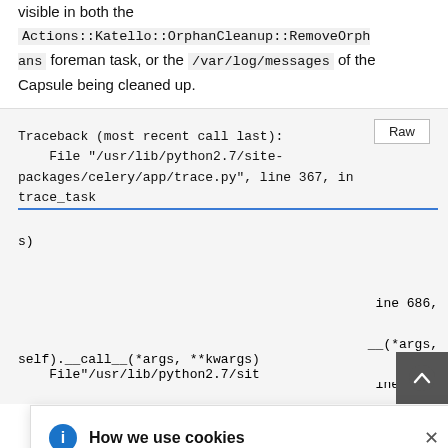visible in both the Actions::Katello::OrphanCleanup::RemoveOrphans foreman task, or the /var/log/messages of the Capsule being cleaned up.
[Figure (screenshot): Code block showing a Python traceback with a 'Raw' button, partially obscured by a cookie consent banner. The traceback shows: Traceback (most recent call last): File "/usr/lib/python2.7/site-packages/celery/app/trace.py", line 367, in trace_task; followed by more lines. The cookie banner reads 'How we use cookies' with info icon and close button. Body text: 'We use cookies on our websites to deliver our online services. Details about how we use cookies and how you may disable them are set out in our Privacy Statement. By using this website you agree to our use of cookies.' A scroll-to-top button is shown bottom right.]